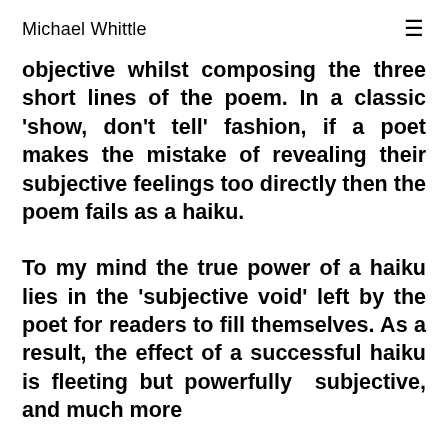Michael Whittle
objective whilst composing the three short lines of the poem. In a classic 'show, don't tell' fashion, if a poet makes the mistake of revealing their subjective feelings too directly then the poem fails as a haiku.
To my mind the true power of a haiku lies in the 'subjective void' left by the poet for readers to fill themselves. As a result, the effect of a successful haiku is fleeting but powerfully subjective, and much more